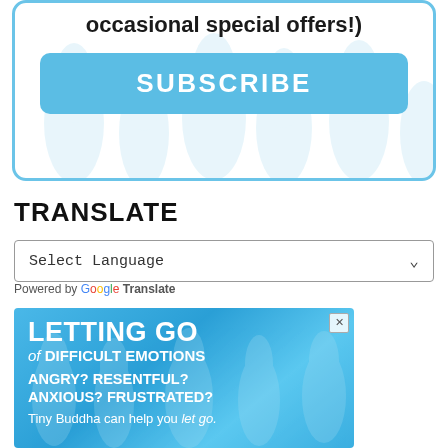[Figure (screenshot): Subscribe box with blue border, tree watermark background, bold text 'occasional special offers!)' and blue SUBSCRIBE button]
TRANSLATE
[Figure (screenshot): Google Translate widget with 'Select Language' dropdown selector]
Powered by Google Translate
[Figure (screenshot): Advertisement banner with blue background: 'LETTING GO of DIFFICULT EMOTIONS — ANGRY? RESENTFUL? ANXIOUS? FRUSTRATED? Tiny Buddha can help you let go.']